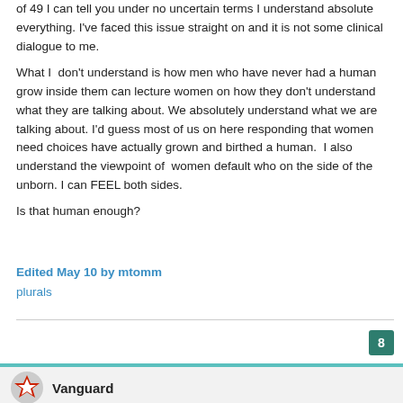of 49 I can tell you under no uncertain terms I understand absolute everything. I've faced this issue straight on and it is not some clinical dialogue to me.
What I  don't understand is how men who have never had a human grow inside them can lecture women on how they don't understand what they are talking about. We absolutely understand what we are talking about. I'd guess most of us on here responding that women need choices have actually grown and birthed a human.  I also understand the viewpoint of  women default who on the side of the unborn. I can FEEL both sides.

Is that human enough?
Edited May 10 by mtomm
plurals
Vanguard